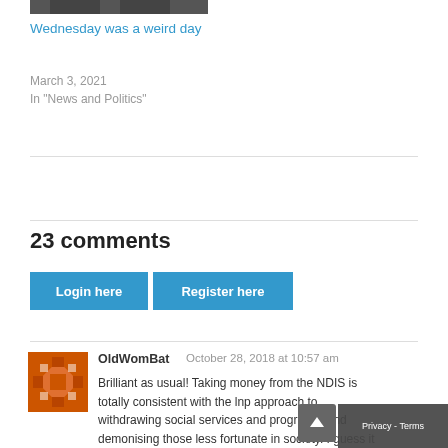[Figure (photo): Top portion of a photo showing two people in suits, cropped at top]
Wednesday was a weird day
March 3, 2021
In "News and Politics"
23 comments
Login here
Register here
OldWomBat  October 28, 2018 at 10:57 am
Brilliant as usual! Taking money from the NDIS is totally consistent with the lnp approach to withdrawing social services and programs, and demonising those less fortunate in society. I guess it hasn't dawned on the lnp that you don't